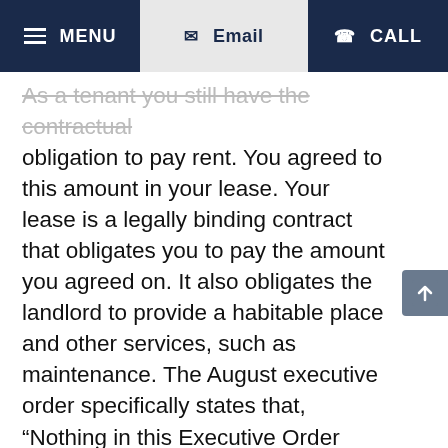MENU | Email | CALL
As a tenant you still have the contractual obligation to pay rent. You agreed to this amount in your lease. Your lease is a legally binding contract that obligates you to pay the amount you agreed on. It also obligates the landlord to provide a habitable place and other services, such as maintenance. The August executive order specifically states that, “Nothing in this Executive Order relieves a tenant’s obligation to pay rent.” Minn. Emergency Executive Order 20-79, paragraph 2. Under normal circumstances, a landlord can bring an eviction case when a payment is missed. Although that ability of the landlord is suspended right now, this does not mean you